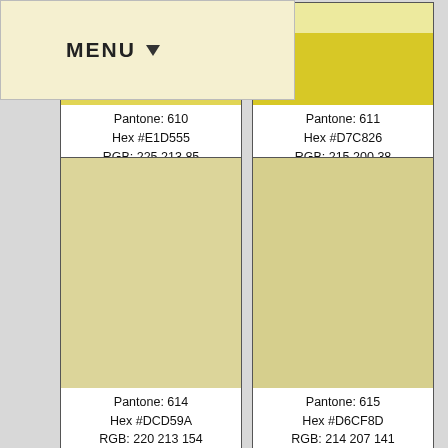[Figure (other): MENU dropdown button bar]
Pantone: 610
Hex #E1D555
RGB: 225 213 85
CMYK: 3 2 62 5
Pantone: 611
Hex #D7C826
RGB: 215 200 38
CMYK: 5 3 76 11
Pantone: 612
Hex #C4B000
RGB: 196 176 0
CMYK: 0 2 100 22
Pantone: 613
Hex #B39B00
RGB: 179 155 0
CMYK: 0 4 100 30
Pantone: 614
Hex #DCD59A
RGB: 220 213 154
Pantone: 615
Hex #D6CF8D
RGB: 214 207 141